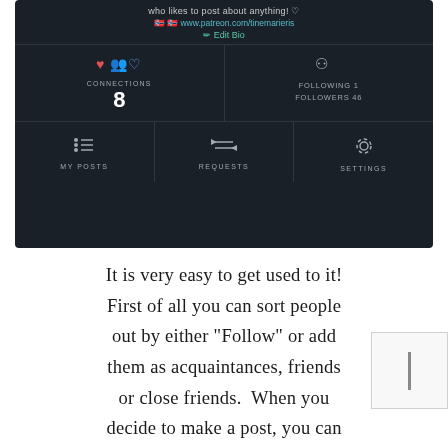[Figure (screenshot): Mobile app profile page screenshot showing dark UI with connections count (8), following (1), followers (46), and navigation items: My Posts, Requests, Settings. Top shows partial bio text, patreon link, and Edit Bio button.]
It is very easy to get used to it! First of all you can sort people out by either “Follow” or add them as acquaintances, friends or close friends.  When you decide to make a post, you can